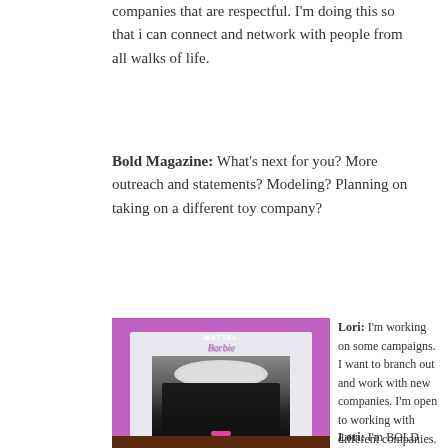companies that are respectful. I'm doing this so that i can connect and network with people from all walks of life.
Bold Magazine: What's next for you? More outreach and statements? Modeling? Planning on taking on a different toy company?
[Figure (photo): A person dressed as Barbie standing inside a large pink Barbie box, wearing a black gown and white wig with pink heels.]
Lori: I'm working on some campaigns. I want to branch out and work with new companies. I'm open to working with different companies. Bold Magazine: Amazing! Lastly, Lori, what makes you BOLD (unique and awesome)?
Lori: I'm BOLD